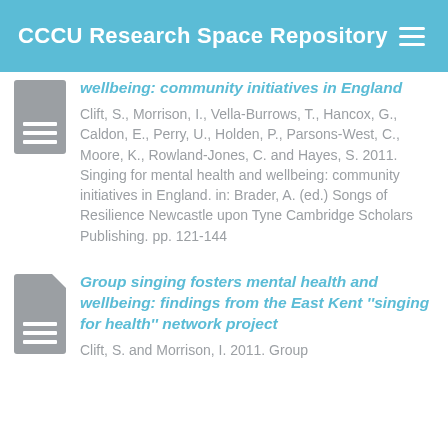CCCU Research Space Repository
wellbeing: community initiatives in England
Clift, S., Morrison, I., Vella-Burrows, T., Hancox, G., Caldon, E., Perry, U., Holden, P., Parsons-West, C., Moore, K., Rowland-Jones, C. and Hayes, S. 2011. Singing for mental health and wellbeing: community initiatives in England. in: Brader, A. (ed.) Songs of Resilience Newcastle upon Tyne Cambridge Scholars Publishing. pp. 121-144
Group singing fosters mental health and wellbeing: findings from the East Kent ''singing for health'' network project
Clift, S. and Morrison, I. 2011. Group